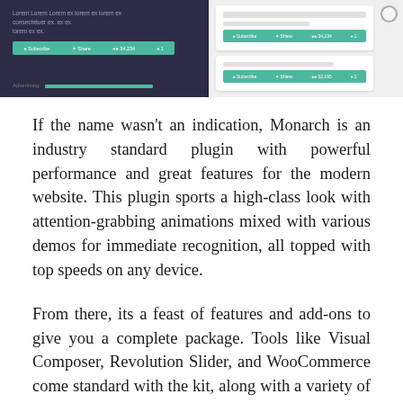[Figure (screenshot): Screenshot of a web plugin interface showing dark panel on left with lorem ipsum text and teal action bars, and light panel on the right with cards and social sharing buttons. Search icon in upper right corner.]
If the name wasn't an indication, Monarch is an industry standard plugin with powerful performance and great features for the modern website. This plugin sports a high-class look with attention-grabbing animations mixed with various demos for immediate recognition, all topped with top speeds on any device.
From there, its a feast of features and add-ons to give you a complete package. Tools like Visual Composer, Revolution Slider, and WooCommerce come standard with the kit, along with a variety of ways to modify pages. Connecting with people is easy using this BuddyPress plugin too, as they can host profiles and send messages much like any other top-tier social network. You'd never want to throw this tool into a startup with